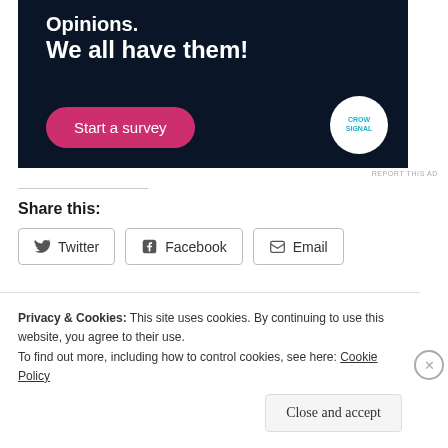[Figure (illustration): Ad banner with dark navy background showing 'Opinions. We all have them!' text, a pink 'Start a survey' button, and Crowdsignal logo circle]
REPORT THIS AD
Share this:
Twitter  Facebook  Email
Loading...
Privacy & Cookies: This site uses cookies. By continuing to use this website, you agree to their use.
To find out more, including how to control cookies, see here: Cookie Policy
Close and accept